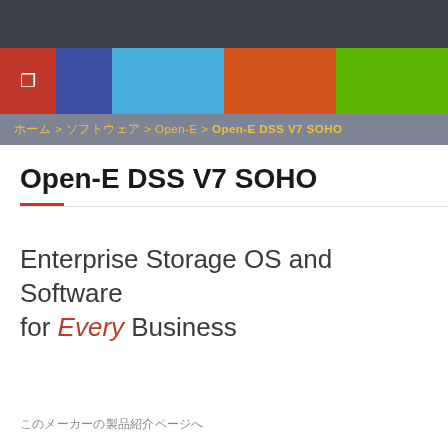[Figure (other): Dark top navigation bar with colored block strip (red, navy, sky blue, orange, green) below]
ホーム > ソフトウェア > Open-E > Open-E DSS V7 SOHO
Open-E DSS V7 SOHO
Enterprise Storage OS and Software for Every Business
このメーカーの製品紹介ページへ